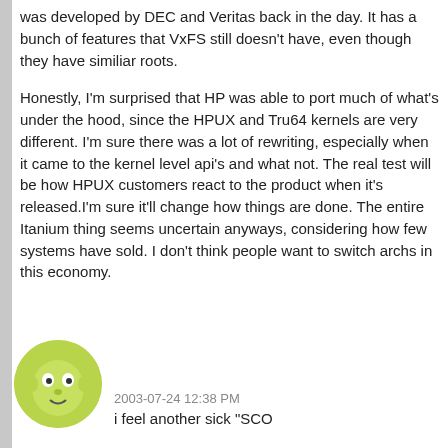was developed by DEC and Veritas back in the day. It has a bunch of features that VxFS still doesn't have, even though they have similiar roots.
Honestly, I'm surprised that HP was able to port much of what's under the hood, since the HPUX and Tru64 kernels are very different. I'm sure there was a lot of rewriting, especially when it came to the kernel level api's and what not. The real test will be how HPUX customers react to the product when it's released.I'm sure it'll change how things are done. The entire Itanium thing seems uncertain anyways, considering how few systems have sold. I don't think people want to switch archs in this economy.
2003-07-24 12:38 PM
i feel another sick "SCO
[Figure (illustration): Green circular avatar icon resembling a cartoon character or robot face]